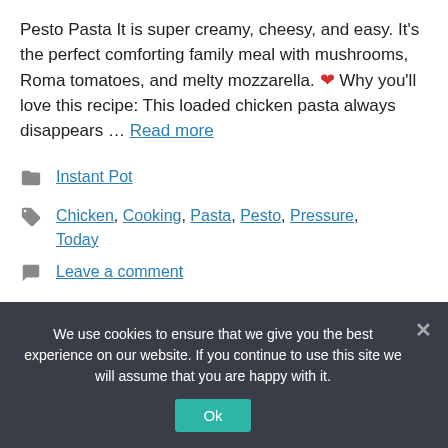Pesto Pasta It is super creamy, cheesy, and easy. It's the perfect comforting family meal with mushrooms, Roma tomatoes, and melty mozzarella. ❤ Why you'll love this recipe: This loaded chicken pasta always disappears … Read more
Instant Pot
Chicken, Cooking, Pasta, Pesto, Pressure, Today
Leave a comment
We use cookies to ensure that we give you the best experience on our website. If you continue to use this site we will assume that you are happy with it. Ok